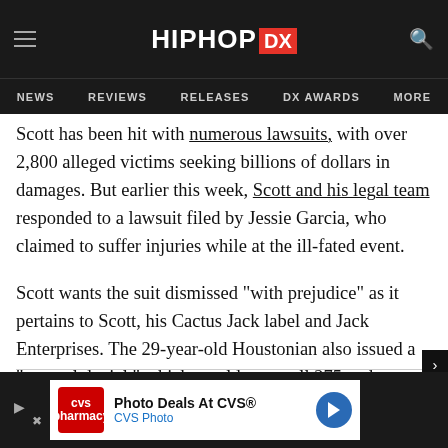HIPHOP DX — NEWS | REVIEWS | RELEASES | DX AWARDS | MORE
Scott has been hit with numerous lawsuits, with over 2,800 alleged victims seeking billions of dollars in damages. But earlier this week, Scott and his legal team responded to a lawsuit filed by Jessie Garcia, who claimed to suffer injuries while at the ill-fated event.
Scott wants the suit dismissed “with prejudice” as it pertains to Scott, his Cactus Jack label and Jack Enterprises. The 29-year-old Houstonian also issued a “general denial,” which would cover all 275 and counting lawsuits against him.
[Figure (other): CVS Photo advertisement banner: Photo Deals At CVS® / CVS Photo]